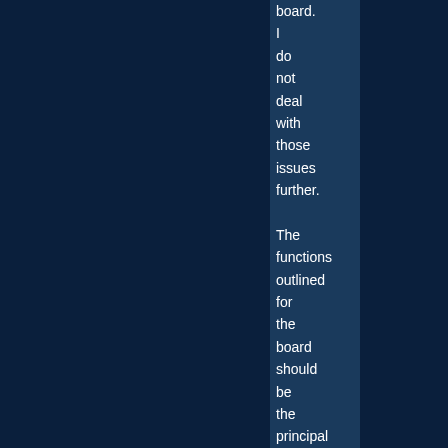board. I do not deal with those issues further. The functions outlined for the board should be the principal concern of the